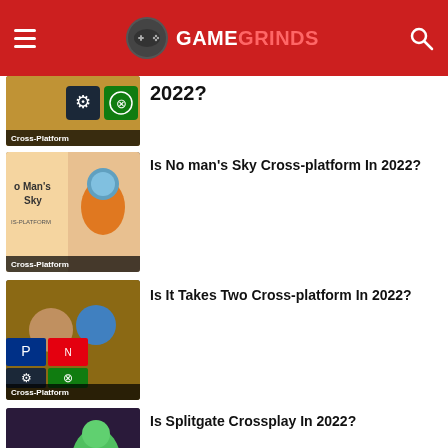GAMEGRINDS
[Figure (screenshot): Partial article thumbnail with Steam and Xbox icons, Cross-Platform badge]
2022?
[Figure (screenshot): No Man's Sky game cover with astronaut character, Cross-Platform badge]
Is No man’s Sky Cross-platform In 2022?
[Figure (screenshot): It Takes Two game artwork with PlayStation, Nintendo, Steam, Xbox icons, Cross-Platform badge]
Is It Takes Two Cross-platform In 2022?
[Figure (screenshot): Splitgate game artwork with PlayStation, Nintendo, Steam, Xbox icons, Cross-Platform badge]
Is Splitgate Crossplay In 2022?